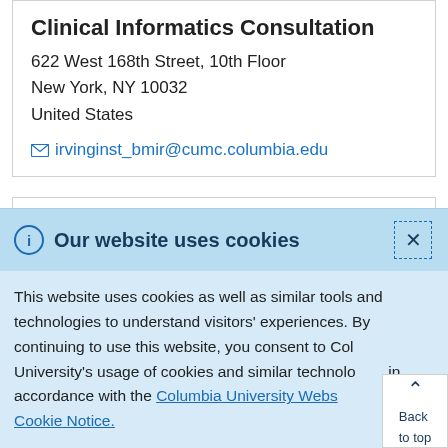Clinical Informatics Consultation
622 West 168th Street, 10th Floor
New York, NY 10032
United States
irvinginst_bmir@cumc.columbia.edu
Clinical Trial Design and Innovation
The statistical and data management team will
Our website uses cookies
This website uses cookies as well as similar tools and technologies to understand visitors' experiences. By continuing to use this website, you consent to Columbia University's usage of cookies and similar technologies in accordance with the Columbia University Website Cookie Notice.